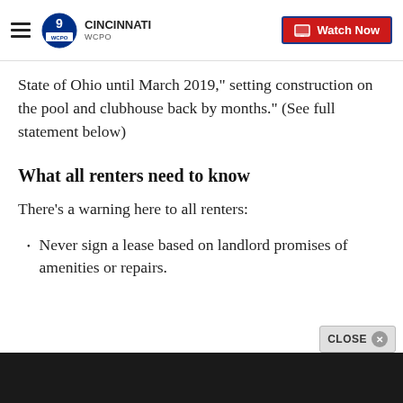WCPO 9 Cincinnati | Watch Now
State of Ohio until March 2019," setting construction on the pool and clubhouse back by months." (See full statement below)
What all renters need to know
There's a warning here to all renters:
Never sign a lease based on landlord promises of amenities or repairs.